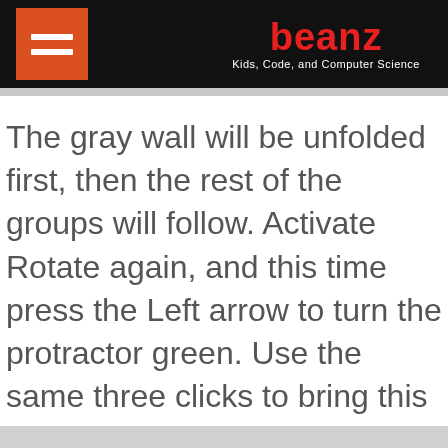beanz Kids, Code, and Computer Science
The gray wall will be unfolded first, then the rest of the groups will follow. Activate Rotate again, and this time press the Left arrow to turn the protractor green. Use the same three clicks to bring this wall to the ground.